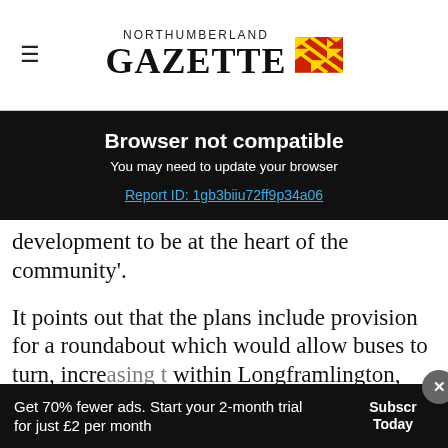NORTHUMBERLAND GAZETTE
Browser not compatible
You may need to update your browser
Report ID: 1gb3biiu72ff9p34a06
development to be at the heart of the community'.
It points out that the plans include provision for a roundabout which would allow buses to turn, incre... t within Longframlington, and the developer is
[Figure (screenshot): Frávega advertisement banner: 'Frávega Como La Familia' with Abrir button]
Get 70% fewer ads. Start your 2-month trial for just £2 per month   Subscribe Today